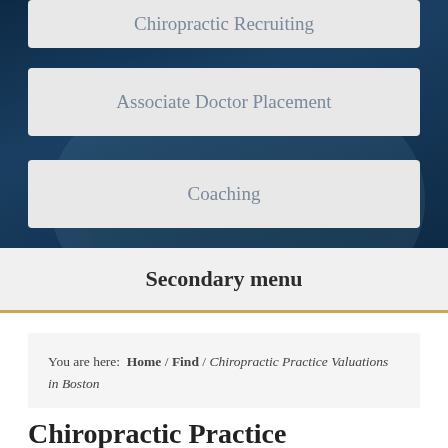Chiropractic Recruiting
Associate Doctor Placement
Coaching
Secondary menu
You are here: Home / Find / Chiropractic Practice Valuations in Boston
Chiropractic Practice